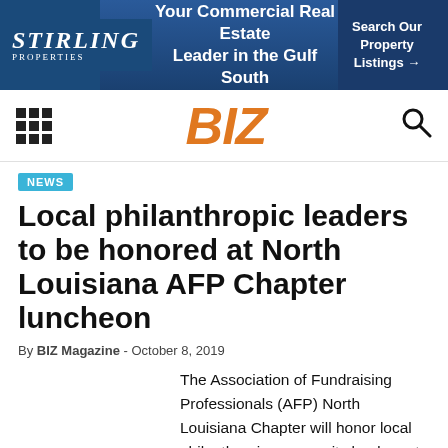[Figure (other): Stirling Properties banner ad: 'Your Commercial Real Estate Leader in the Gulf South' with 'Search Our Property Listings →' button on blue background with city skyline]
BIZ
NEWS
Local philanthropic leaders to be honored at North Louisiana AFP Chapter luncheon
By BIZ Magazine - October 8, 2019
The Association of Fundraising Professionals (AFP) North Louisiana Chapter will honor local philanthropic community leaders at its 28th annual National Philanthropy Day (NPD)